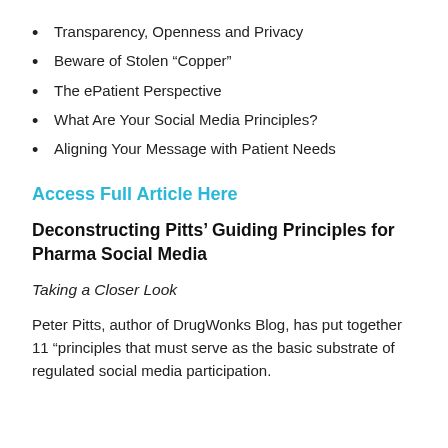Transparency, Openness and Privacy
Beware of Stolen “Copper”
The ePatient Perspective
What Are Your Social Media Principles?
Aligning Your Message with Patient Needs
Access Full Article Here
Deconstructing Pitts’ Guiding Principles for Pharma Social Media
Taking a Closer Look
Peter Pitts, author of DrugWonks Blog, has put together 11 “principles that must serve as the basic substrate of regulated social media participation.